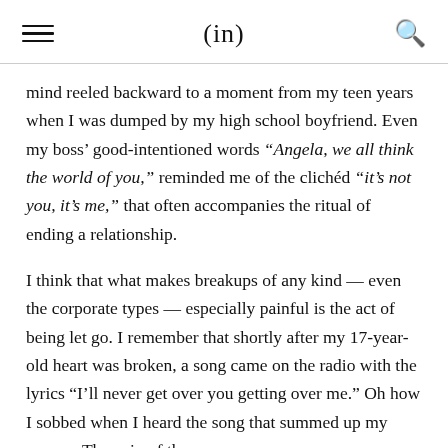(in)
mind reeled backward to a moment from my teen years when I was dumped by my high school boyfriend. Even my boss’ good-intentioned words “Angela, we all think the world of you,” reminded me of the clichéd “it’s not you, it’s me,” that often accompanies the ritual of ending a relationship.
I think that what makes breakups of any kind — even the corporate types — especially painful is the act of being let go. I remember that shortly after my 17-year-old heart was broken, a song came on the radio with the lyrics “I’ll never get over you getting over me.” Oh how I sobbed when I heard the song that summed up my sorrow. The pain of the arrow